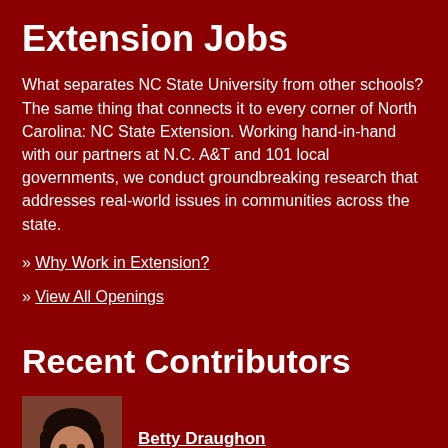Extension Jobs
What separates NC State University from other schools? The same thing that connects it to every corner of North Carolina: NC State Extension. Working hand-in-hand with our partners at N.C. A&T and 101 local governments, we conduct groundbreaking research that addresses real-world issues in communities across the state.
» Why Work in Extension?
» View All Openings
Recent Contributors
[Figure (photo): Headshot photo of Betty Draughon, a woman with dark hair]
Betty Draughon
County Extension Support Specialist